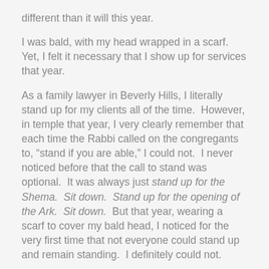different than it will this year.
I was bald, with my head wrapped in a scarf. Yet, I felt it necessary that I show up for services that year.
As a family lawyer in Beverly Hills, I literally stand up for my clients all of the time.  However, in temple that year, I very clearly remember that each time the Rabbi called on the congregants to, “stand if you are able,” I could not.  I never noticed before that the call to stand was optional.  It was always just stand up for the Shema.  Sit down.  Stand up for the opening of the Ark.  Sit down.  But that year, wearing a scarf to cover my bald head, I noticed for the very first time that not everyone could stand up and remain standing.  I definitely could not.
Last year, for the first time, I looked around with curiosity and sympathy for those who stayed